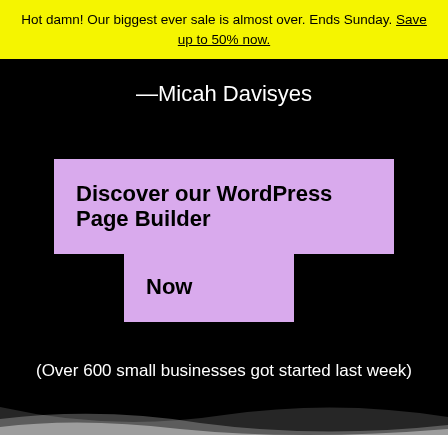Hot damn! Our biggest ever sale is almost over. Ends Sunday. Save up to 50% now.
—Micah Davisyes
[Figure (infographic): Purple/lavender CTA button split into two blocks shaped like a T: top block reads 'Discover our WordPress Page Builder' and the bottom center block reads 'Now']
(Over 600 small businesses got started last week)